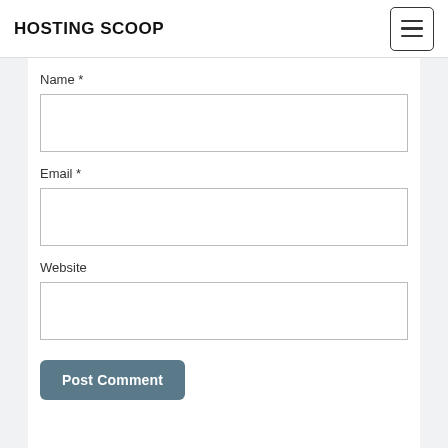HOSTING SCOOP
Name *
Email *
Website
Post Comment